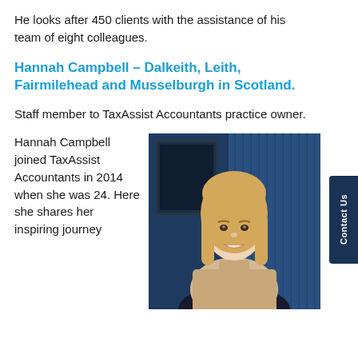He looks after 450 clients with the assistance of his team of eight colleagues.
Hannah Campbell – Dalkeith, Leith, Fairmilehead and Musselburgh in Scotland.
Staff member to TaxAssist Accountants practice owner.
Hannah Campbell joined TaxAssist Accountants in 2014 when she was 24. Here she shares her inspiring journey
[Figure (photo): Portrait photo of Hannah Campbell, a blonde woman smiling, seated in an office with blue curtains and a framed picture in the background.]